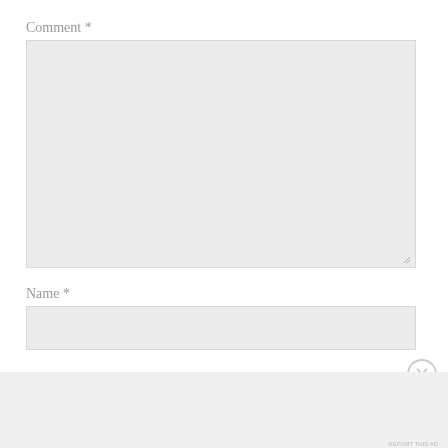Comment *
[Figure (screenshot): Empty comment textarea input box with light gray background and resize handle at bottom right]
Name *
[Figure (screenshot): Empty name text input field with light gray background]
[Figure (screenshot): Close/dismiss button (circled X icon)]
Advertisements
[Figure (screenshot): DuckDuckGo advertisement banner: orange left side with text 'Search, browse, and email with more privacy. All in One Free App' and dark right side with DuckDuckGo duck logo]